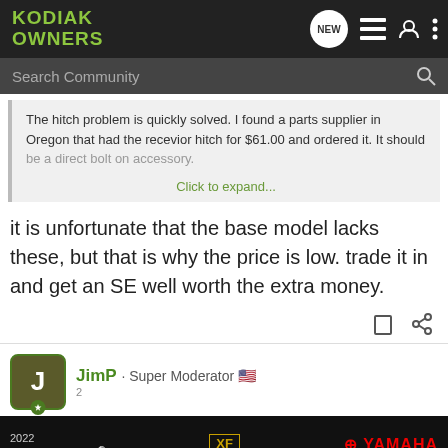Kodiak Owners — navigation bar with search
The hitch problem is quickly solved. I found a parts supplier in Oregon that had the recevior hitch for $61.00 and ordered it. It should be a direct bolt on accessory. Click to expand...
it is unfortunate that the base model lacks these, but that is why the price is low. trade it in and get an SE well worth the extra money.
JimP · Super Moderator
[Figure (screenshot): 2022 Grizzly Yamaha advertisement banner at bottom of page]